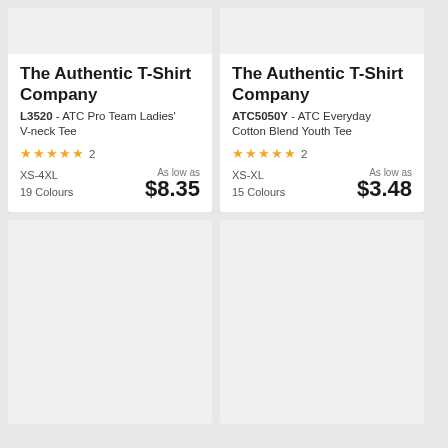[Figure (photo): Product image placeholder for ATC L3520 Ladies V-neck Tee]
The Authentic T-Shirt Company
L3520 - ATC Pro Team Ladies' V-neck Tee
★★★★★ 2
XS-4XL
19 Colours
As low as $8.35
[Figure (photo): Product image placeholder for ATC ATC5050Y Youth Tee]
The Authentic T-Shirt Company
ATC5050Y - ATC Everyday Cotton Blend Youth Tee
★★★★★ 2
XS-XL
15 Colours
As low as $3.48
[Figure (photo): Product image placeholder bottom left]
[Figure (photo): Product image placeholder bottom right]